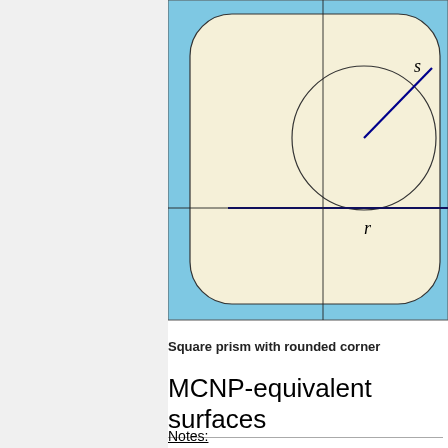[Figure (engineering-diagram): Top-view diagram of a square prism with rounded corners (shown in beige/cream) inside a blue rectangular border. A circle is shown inside the top-right area of the beige rounded rectangle. A blue line labeled 's' extends diagonally from the center of the circle outward. A horizontal blue line labeled 'r' runs from the center of the circle toward the left. Black crosshair lines divide the diagram into quadrants.]
Square prism with rounded corner
MCNP-equivalent surfaces
Notes: